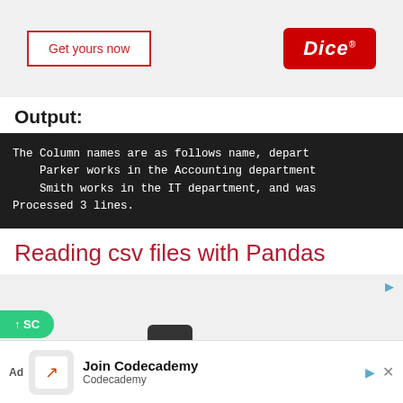[Figure (other): Advertisement banner with 'Get yours now' button and Dice logo on grey background]
Output:
The Column names are as follows name, depart
    Parker works in the Accounting department
    Smith works in the IT department, and was
Processed 3 lines.
Reading csv files with Pandas
[Figure (other): Advertisement banner showing 'The best jobs' text with a dark square graphic, with Dice branding]
[Figure (other): Bottom ad bar: 'Join Codecademy' advertisement with Codecademy logo]